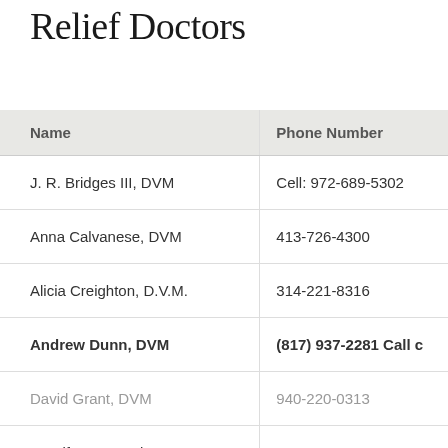Relief Doctors
| Name | Phone Number |
| --- | --- |
| J. R. Bridges III, DVM | Cell: 972-689-5302 |
| Anna Calvanese, DVM | 413-726-4300 |
| Alicia Creighton, D.V.M. | 314-221-8316 |
| Andrew Dunn, DVM | (817) 937-2281 Call c |
| David Grant, DVM | 940-220-0313 |
| Jennifer A. Houck, DVM | 972-978-0179 |
| Stephen Kline, DVM | (502) 689-4702 |
| Sherry Marre, DVM | 903-459-1821 |